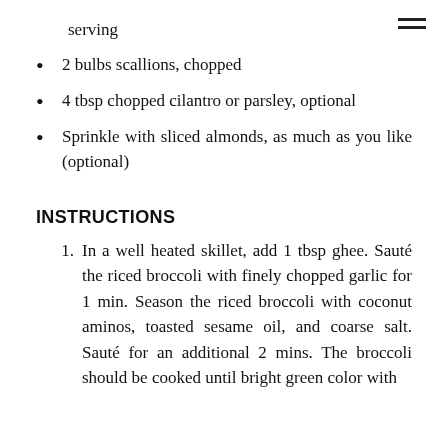serving
2 bulbs scallions, chopped
4 tbsp chopped cilantro or parsley, optional
Sprinkle with sliced almonds, as much as you like (optional)
INSTRUCTIONS
In a well heated skillet, add 1 tbsp ghee. Sauté the riced broccoli with finely chopped garlic for 1 min. Season the riced broccoli with coconut aminos, toasted sesame oil, and coarse salt. Sauté for an additional 2 mins. The broccoli should be cooked until bright green color with